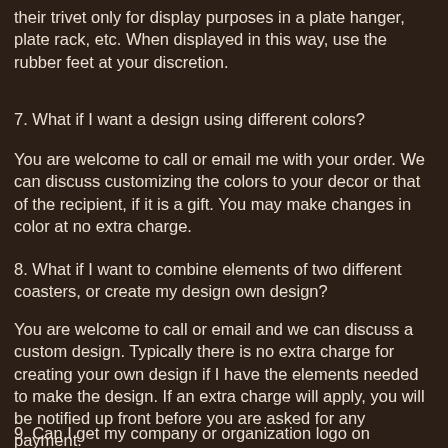their trivet only for display purposes in a plate hanger, plate rack, etc. When displayed in this way, use the rubber feet at your discretion.
7. What if I want a design using different colors?
You are welcome to call or email me with your order. We can discuss customizing the colors to your decor or that of the recipient, if it is a gift. You may make changes in color at no extra charge.
8. What if I want to combine elements of two different coasters, or create my design own design?
You are welcome to call or email and we can discuss a custom design. Typically there is no extra charge for creating your own design if I have the elements needed to make the design. If an extra charge will apply, you will be notified up front before you are asked for any payment.
9. Can I get my company or organization logo on coasters or trivets?